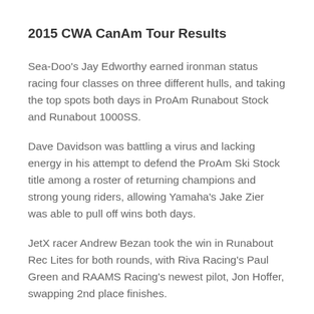2015 CWA CanAm Tour Results
Sea-Doo's Jay Edworthy earned ironman status racing four classes on three different hulls, and taking the top spots both days in ProAm Runabout Stock and Runabout 1000SS.
Dave Davidson was battling a virus and lacking energy in his attempt to defend the ProAm Ski Stock title among a roster of returning champions and strong young riders, allowing Yamaha's Jake Zier was able to pull off wins both days.
JetX racer Andrew Bezan took the win in Runabout Rec Lites for both rounds, with Riva Racing's Paul Green and RAAMS Racing's newest pilot, Jon Hoffer, swapping 2nd place finishes.